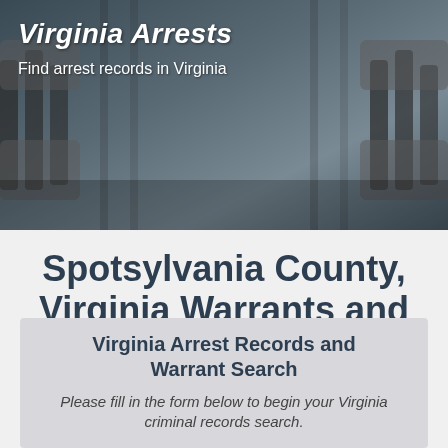[Figure (photo): Dark grayscale banner photo showing hands gripping metal prison bars, used as website header background]
Virginia Arrests
Find arrest records in Virginia
Spotsylvania County, Virginia Warrants and Arrest Records
Virginia Arrest Records and Warrant Search
Please fill in the form below to begin your Virginia criminal records search.